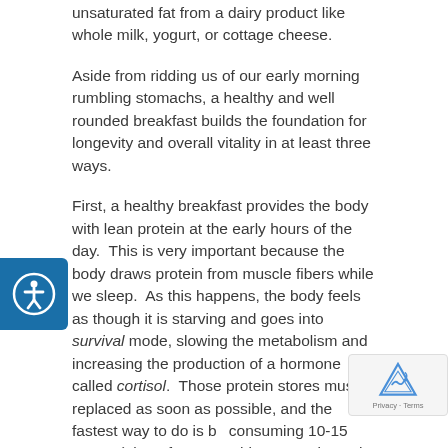unsaturated fat from a dairy product like whole milk, yogurt, or cottage cheese.
Aside from ridding us of our early morning rumbling stomachs, a healthy and well rounded breakfast builds the foundation for longevity and overall vitality in at least three ways.
First, a healthy breakfast provides the body with lean protein at the early hours of the day.  This is very important because the body draws protein from muscle fibers while we sleep.  As this happens, the body feels as though it is starving and goes into survival mode, slowing the metabolism and increasing the production of a hormone called cortisol.  Those protein stores must be replaced as soon as possible, and the fastest way to do is by consuming 10-15 grams (about four egg whites) of protein each morning.  This will bring the body out